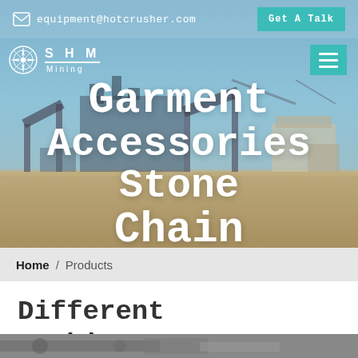equipment@hotcrusher.com  Get A Talk
[Figure (screenshot): SHM Mining logo with compass-star emblem, white letters on blue-teal background]
Garment Accessories Stone Chain
Home / Products
Different Machines To Meet All Need